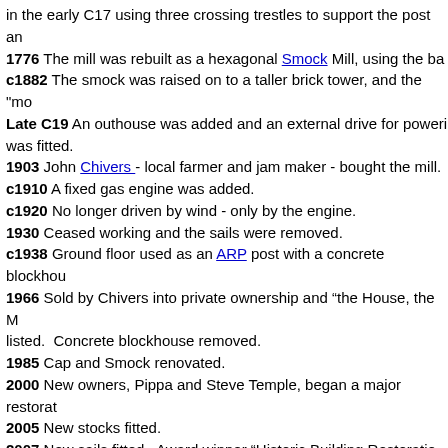in the early C17 using three crossing trestles to support the post and
1776 The mill was rebuilt as a hexagonal Smock Mill, using the ba
c1882 The smock was raised on to a taller brick tower, and the "mo
Late C19 An outhouse was added and an external drive for powering was fitted.
1903 John Chivers - local farmer and jam maker - bought the mill.
c1910 A fixed gas engine was added.
c1920 No longer driven by wind - only by the engine.
1930 Ceased working and the sails were removed.
c1938 Ground floor used as an ARP post with a concrete blockhouse
1966 Sold by Chivers into private ownership and "the House, the Mill" listed. Concrete blockhouse removed.
1985 Cap and Smock renovated.
2000 New owners, Pippa and Steve Temple, began a major restoration
2005 New stocks fitted.
2007 New sails fitted. Award winner "Historic Building Restoration"
2010 External restoration completed
Since 2010 work has commenced on internal restoration with the aim of bringing the mill back into working order. A rolling programme of maintenance has been introduced
Pictures